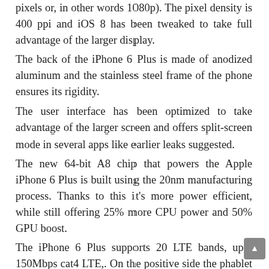pixels or, in other words 1080p). The pixel density is 400 ppi and iOS 8 has been tweaked to take full advantage of the larger display.
The back of the iPhone 6 Plus is made of anodized aluminum and the stainless steel frame of the phone ensures its rigidity.
The user interface has been optimized to take advantage of the larger screen and offers split-screen mode in several apps like earlier leaks suggested.
The new 64-bit A8 chip that powers the Apple iPhone 6 Plus is built using the 20nm manufacturing process. Thanks to this it's more power efficient, while still offering 25% more CPU power and 50% GPU boost.
The iPhone 6 Plus supports 20 LTE bands, upto 150Mbps cat4 LTE,. On the positive side the phablet comes with VoLTE and Wi-Fi 802.11ac,